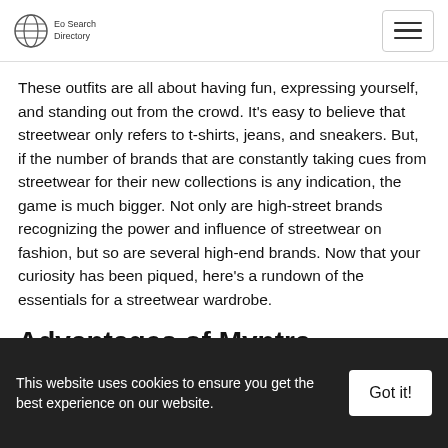Eo Search Directory
These outfits are all about having fun, expressing yourself, and standing out from the crowd. It's easy to believe that streetwear only refers to t-shirts, jeans, and sneakers. But, if the number of brands that are constantly taking cues from streetwear for their new collections is any indication, the game is much bigger. Not only are high-street brands recognizing the power and influence of streetwear on fashion, but so are several high-end brands. Now that your curiosity has been piqued, here's a rundown of the essentials for a streetwear wardrobe.
Advantages of Myntra Streetwear
100% ORIGINAL guarantee
Return within 30 days of receiving your order
This website uses cookies to ensure you get the best experience on our website.